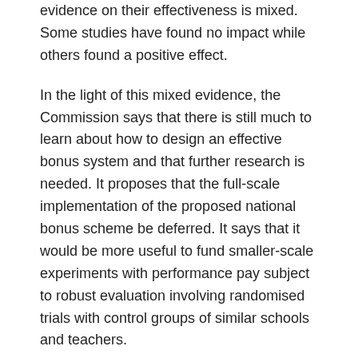evidence on their effectiveness is mixed. Some studies have found no impact while others found a positive effect.
In the light of this mixed evidence, the Commission says that there is still much to learn about how to design an effective bonus system and that further research is needed. It proposes that the full-scale implementation of the proposed national bonus scheme be deferred. It says that it would be more useful to fund smaller-scale experiments with performance pay subject to robust evaluation involving randomised trials with control groups of similar schools and teachers.
School autonomy
The extent of school autonomy varies